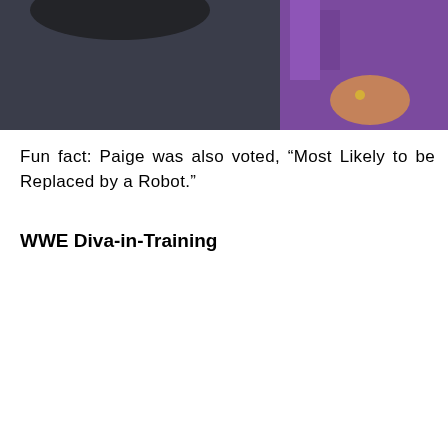[Figure (photo): Partial photo of a woman wearing a purple dress, with dark background, showing torso and hands with a ring]
Fun fact: Paige was also voted, “Most Likely to be Replaced by a Robot.”
WWE Diva-in-Training